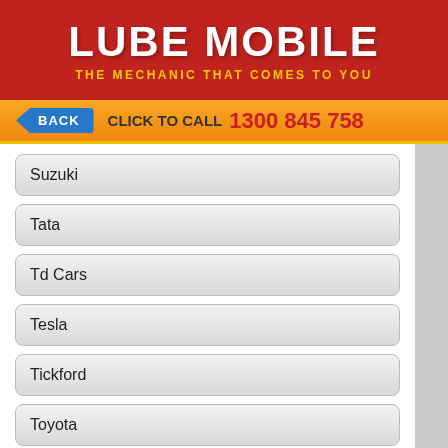LUBE MOBILE — THE MECHANIC THAT COMES TO YOU
BACK   CLICK TO CALL 1300 845 758
Suzuki
Tata
Td Cars
Tesla
Tickford
Toyota
Triumph
Tvr